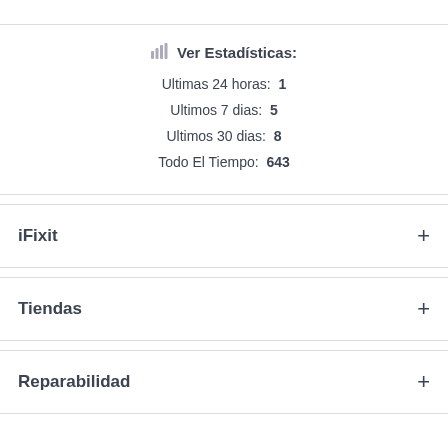Ver Estadísticas:
Ultimas 24 horas:  1
Ultimos 7 dias:  5
Ultimos 30 dias:  8
Todo El Tiempo:  643
iFixit
Tiendas
Reparabilidad